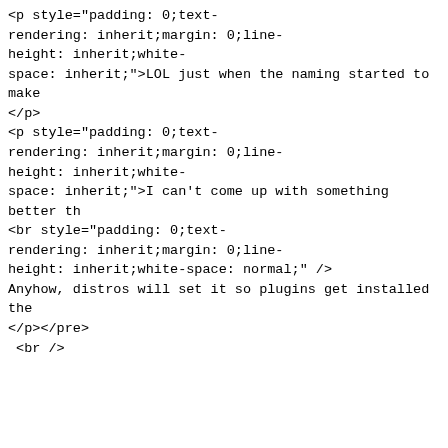<p style="padding: 0;text-rendering: inherit;margin: 0;line-height: inherit;white-space: inherit;">LOL just when the naming started to make
</p>
<p style="padding: 0;text-rendering: inherit;margin: 0;line-height: inherit;white-space: inherit;">I can't come up with something better th
<br style="padding: 0;text-rendering: inherit;margin: 0;line-height: inherit;white-space: normal;" />
Anyhow, distros will set it so plugins get installed the
</p></pre>
 <br />
<p>- David Faure</p>
<br />
<p>On August 25th, 2014, 6 p.m. UTC, Rohan Garg wrote:
</p>